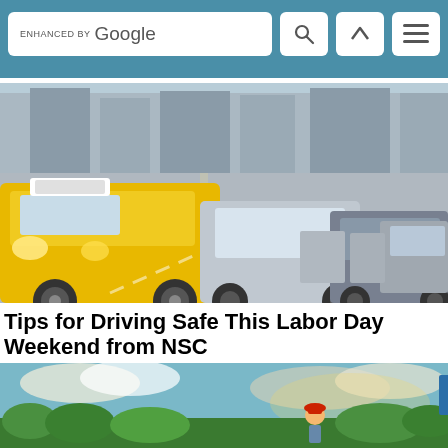ENHANCED BY Google [search bar with icons]
[Figure (photo): Traffic scene showing multiple cars lined up on a city road, with a prominent yellow taxi cab in the foreground and several other vehicles behind it receding into the distance.]
Tips for Driving Safe This Labor Day Weekend from NSC
[Figure (photo): A person wearing a red cap standing in a field with green plants, under a dramatic sky with clouds and sunlight.]